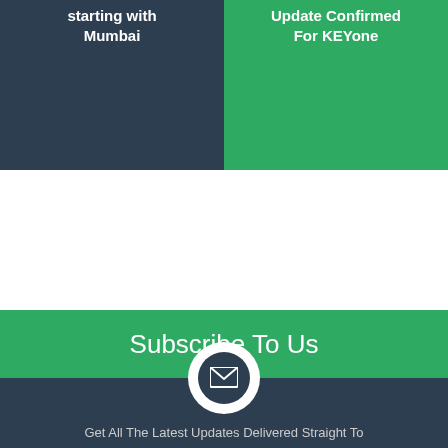[Figure (infographic): Two-panel card layout: left panel with dark navy background shows text 'starting with Mumbai', right panel with green background shows text 'Update Confirmed For KEYone']
[Figure (infographic): Subscribe section with green top band containing 'Subscribe To Us' title, envelope icon in circular badge overlapping the navy bottom band, and text 'Get All The Latest Updates Delivered Straight To']